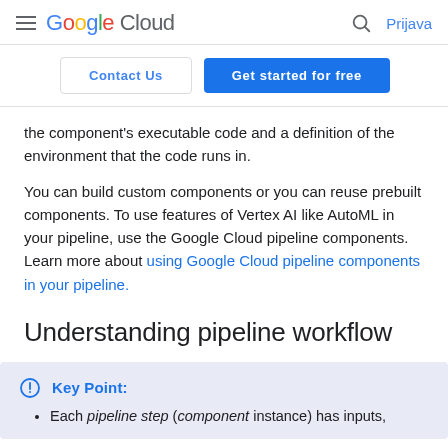Google Cloud  Prijava
Contact Us  Get started for free
the component's executable code and a definition of the environment that the code runs in.
You can build custom components or you can reuse prebuilt components. To use features of Vertex AI like AutoML in your pipeline, use the Google Cloud pipeline components. Learn more about using Google Cloud pipeline components in your pipeline.
Understanding pipeline workflow
Key Point: Each pipeline step (component instance) has inputs,